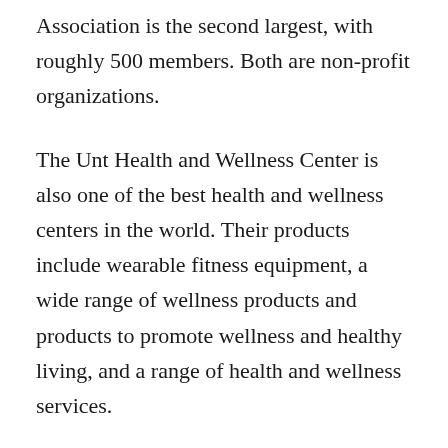Association is the second largest, with roughly 500 members. Both are non-profit organizations.
The Unt Health and Wellness Center is also one of the best health and wellness centers in the world. Their products include wearable fitness equipment, a wide range of wellness products and products to promote wellness and healthy living, and a range of health and wellness services.
The Unt Health and Wellness Center has the coolest of all, but it's also one of the oldest health and wellness centers in the United States. Their latest product is the latest in their life-changing innovation. Their new product is called T-Mobile